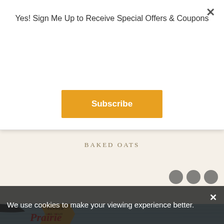Yes! Sign Me Up to Receive Special Offers & Coupons
Subscribe
BAKED OATS
[Figure (photo): Partial view of a Farmer's Prairie branded product on a blue wood background]
We use cookies to make your viewing experience better.